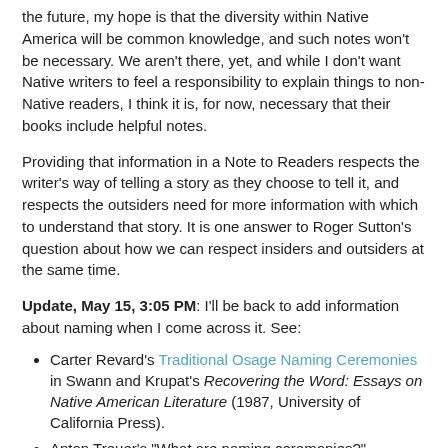the future, my hope is that the diversity within Native America will be common knowledge, and such notes won't be necessary. We aren't there, yet, and while I don't want Native writers to feel a responsibility to explain things to non-Native readers, I think it is, for now, necessary that their books include helpful notes.
Providing that information in a Note to Readers respects the writer's way of telling a story as they choose to tell it, and respects the outsiders need for more information with which to understand that story. It is one answer to Roger Sutton's question about how we can respect insiders and outsiders at the same time.
Update, May 15, 3:05 PM: I'll be back to add information about naming when I come across it. See:
Carter Revard's Traditional Osage Naming Ceremonies in Swann and Krupat's Recovering the Word: Essays on Native American Literature (1987, University of California Press).
Anton Treuer's "What are naming ceremonies?"